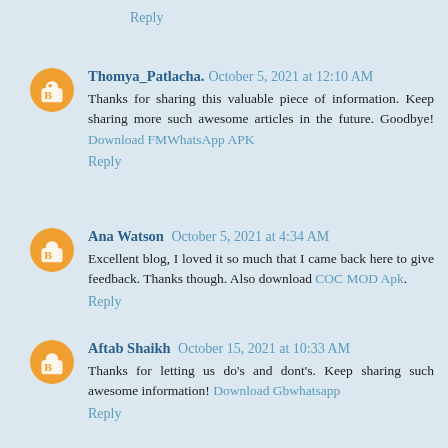Reply
Thomya_Patlacha. October 5, 2021 at 12:10 AM
Thanks for sharing this valuable piece of information. Keep sharing more such awesome articles in the future. Goodbye! Download FMWhatsApp APK
Reply
Ana Watson October 5, 2021 at 4:34 AM
Excellent blog, I loved it so much that I came back here to give feedback. Thanks though. Also download COC MOD Apk.
Reply
Aftab Shaikh October 15, 2021 at 10:33 AM
Thanks for letting us do's and dont's. Keep sharing such awesome information! Download Gbwhatsapp
Reply